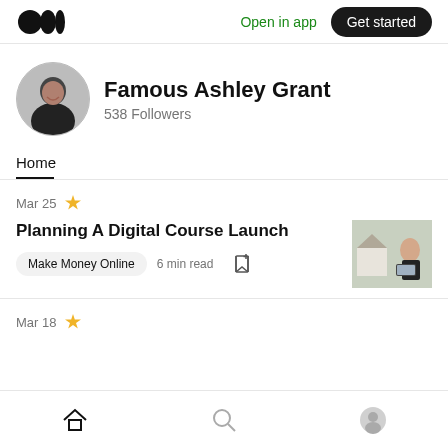Open in app  Get started
Famous Ashley Grant
538 Followers
Home
Mar 25
Planning A Digital Course Launch
Make Money Online  6 min read
[Figure (photo): Thumbnail image of a person sitting outside, working on a laptop, with a house in the background]
Mar 18